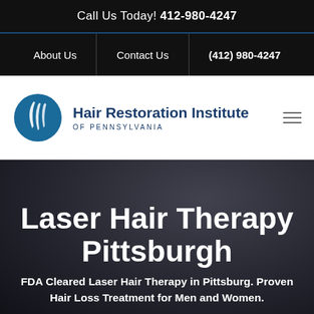Call Us Today! 412-980-4247
About Us | Contact Us | (412) 980-4247
[Figure (logo): Hair Restoration Institute of Pennsylvania logo with blue stylized hair icon and text]
Laser Hair Therapy Pittsburgh
FDA Cleared Laser Hair Therapy in Pittsburg. Proven Hair Loss Treatment for Men and Women.